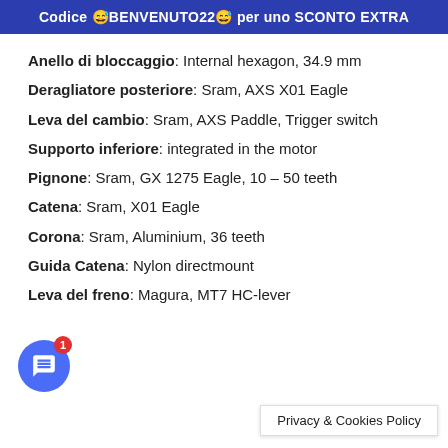Codice 😊BENVENUTO22😊 per uno SCONTO EXTRA
Anello di bloccaggio: Internal hexagon, 34.9 mm
Deragliatore posteriore: Sram, AXS X01 Eagle
Leva del cambio: Sram, AXS Paddle, Trigger switch
Supporto inferiore: integrated in the motor
Pignone: Sram, GX 1275 Eagle, 10 – 50 teeth
Catena: Sram, X01 Eagle
Corona: Sram, Aluminium, 36 teeth
Guida Catena: Nylon directmount
Leva del freno: Magura, MT7 HC-lever
Privacy & Cookies Policy